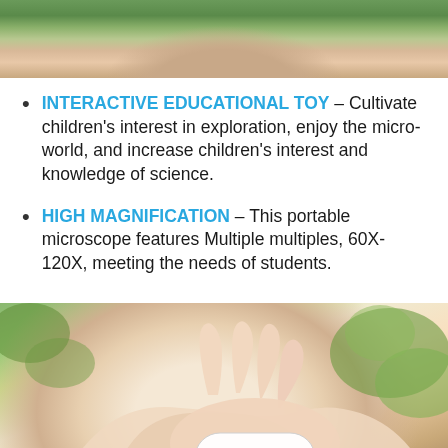[Figure (photo): Top portion of a photo showing a child's face with green leafy background, cropped to show chin/neck area]
INTERACTIVE EDUCATIONAL TOY – Cultivate children's interest in exploration, enjoy the micro-world, and increase children's interest and knowledge of science.
HIGH MAGNIFICATION – This portable microscope features Multiple multiples, 60X-120X, meeting the needs of students.
[Figure (photo): A child's hand holding a small white portable microscope device against a green leafy background]